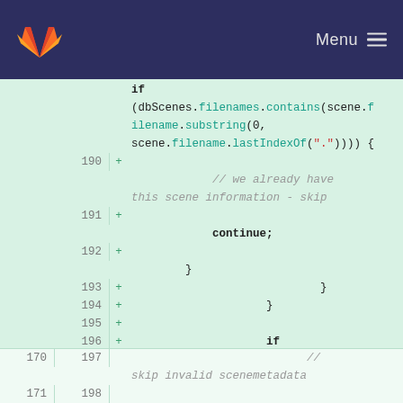Menu
[Figure (screenshot): GitLab code diff view showing added lines 190-197 of a source file. Green highlighted lines show additions including if condition checking dbScenes.filenames.contains(scene.filename.substring(0, scene.filename.lastIndexOf("."))), a comment '// we already have this scene information - skip', a continue statement, closing braces, and an if statement checking scene.entityid == null || scene.acquisitiondate == null || scene.bounds == null. Bottom shows line 197 with '// skip invalid scenemetadata'.]